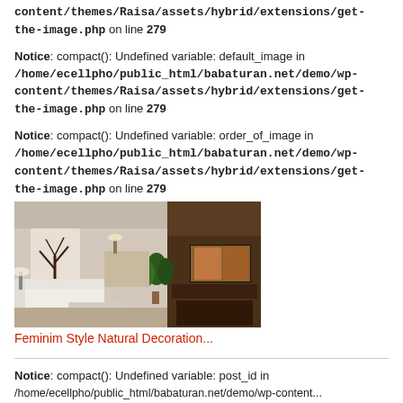content/themes/Raisa/assets/hybrid/extensions/get-the-image.php on line 279
Notice: compact(): Undefined variable: default_image in /home/ecellpho/public_html/babaturan.net/demo/wp-content/themes/Raisa/assets/hybrid/extensions/get-the-image.php on line 279
Notice: compact(): Undefined variable: order_of_image in /home/ecellpho/public_html/babaturan.net/demo/wp-content/themes/Raisa/assets/hybrid/extensions/get-the-image.php on line 279
[Figure (photo): Interior room photo showing a modern living room with white sofa, TV wall unit, decorative tree artwork, and dining area in background]
Feminim Style Natural Decoration...
Notice: compact(): Undefined variable: post_id in /home/ecellpho/public_html/babaturan.net/demo/wp-content/...